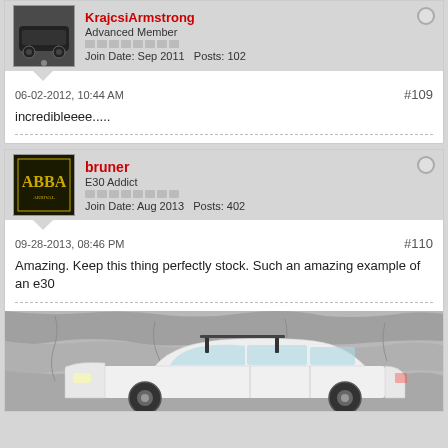KrajcsiArmstrong
Advanced Member
Join Date: Sep 2011   Posts: 102
06-02-2012, 10:44 AM
#109
incredibleeee.....
bruner
E30 Addict
Join Date: Aug 2013   Posts: 402
09-28-2013, 08:46 PM
#110
Amazing. Keep this thing perfectly stock. Such an amazing example of an e30
[Figure (photo): White BMW E30 car with roof rack, parked against a stone wall, side profile view]